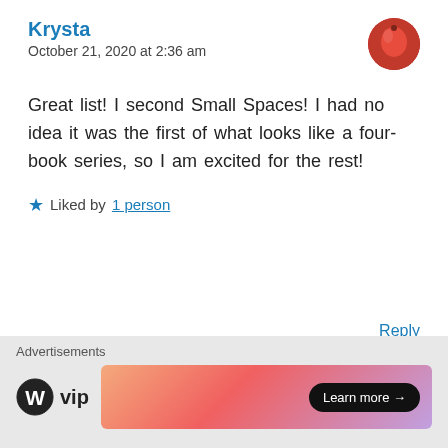Krysta
October 21, 2020 at 2:36 am
Great list! I second Small Spaces! I had no idea it was the first of what looks like a four-book series, so I am excited for the rest!
★ Liked by 1 person
Reply
jawahirthebookworm
October 22, 2020 at 7:56 pm
Advertisements
[Figure (logo): WordPress VIP logo and advertisement banner with Learn more button]